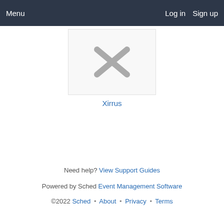Menu   Log in   Sign up
[Figure (logo): Xirrus logo placeholder showing an X shape in gray on a light gray background, inside a bordered card]
Xirrus
Need help? View Support Guides
Powered by Sched Event Management Software
©2022 Sched • About • Privacy • Terms